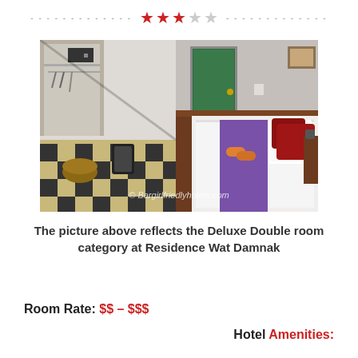[Figure (other): Star rating indicator: 3 filled red stars and 2 empty grey stars, flanked by dashed lines on both sides]
[Figure (photo): Hotel room photo showing a double bed with white linens, purple bed runner, red decorative pillows, checkered tile floor, wardrobe with hanging clothes, green door, and a framed picture on the wall. Watermark reads: © Bargirlfriedlyhotels.com]
The picture above reflects the Deluxe Double room category at Residence Wat Damnak
Room Rate: $$ – $$$
Hotel Amenities: